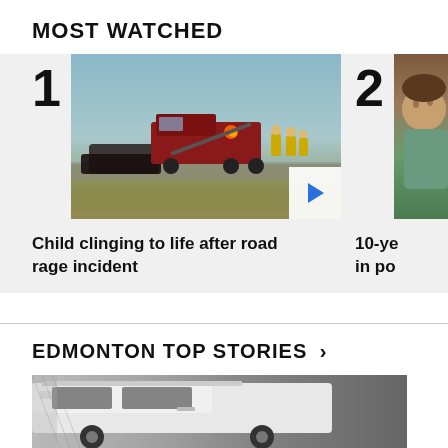MOST WATCHED
[Figure (photo): News video thumbnail showing a road accident scene with a tow truck and emergency responders at dusk, numbered 1]
Child clinging to life after road rage incident
[Figure (photo): Partial news video thumbnail showing a young boy, numbered 2, with partial text '10-ye' and 'in po']
EDMONTON TOP STORIES >
[Figure (photo): Partial image of a white vehicle, cropped at bottom of page]